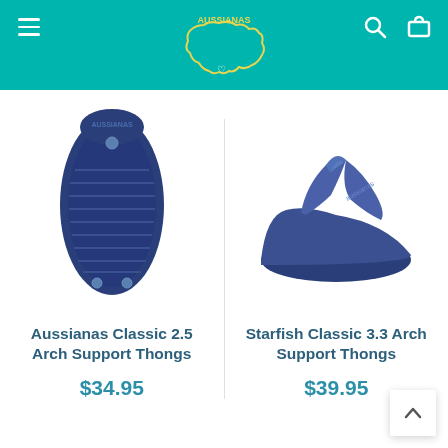[Figure (screenshot): Teal navigation header bar with hamburger menu on left, brand logo (Australia outline with text) in center, search and cart icons on right]
[Figure (photo): Bottom sole view of a navy blue Aussianas Classic 2.5 Arch Support Thong sandal]
Aussianas Classic 2.5 Arch Support Thongs
$34.95
[Figure (photo): Side/top view of a navy blue Starfish Classic 3.3 Arch Support Thong flip-flop sandal]
Starfish Classic 3.3 Arch Support Thongs
$39.95